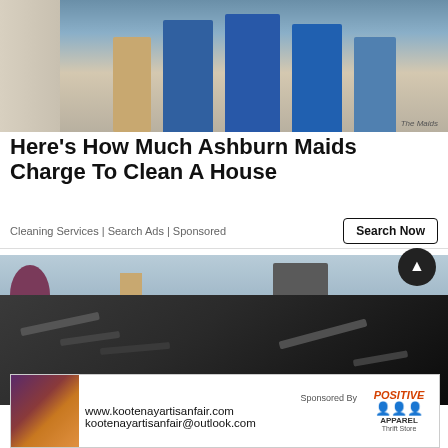[Figure (photo): Photo of maids/cleaning service workers in blue uniforms holding cleaning supplies and buckets, with 'The Maids' logo visible]
Here's How Much Ashburn Maids Charge To Clean A House
Cleaning Services | Search Ads | Sponsored
[Figure (photo): Photo of a damaged roof with lifted and broken shingles, with a chimney and trees visible in the background]
[Figure (photo): Sponsored banner ad for kootenayartisanfair.com and kootenayartisanfair@outlook.com, sponsored by Positive Apparel Thrift Store]